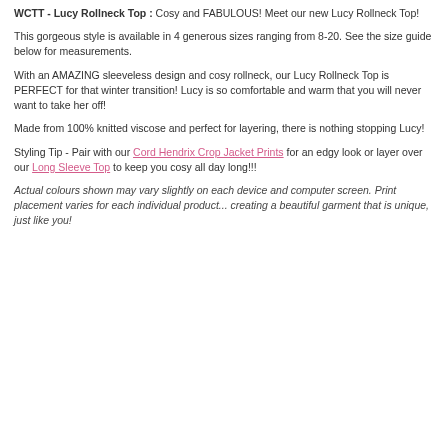WCTT - Lucy Rollneck Top : Cosy and FABULOUS! Meet our new Lucy Rollneck Top!
This gorgeous style is available in 4 generous sizes ranging from 8-20. See the size guide below for measurements.
With an AMAZING sleeveless design and cosy rollneck, our Lucy Rollneck Top is PERFECT for that winter transition! Lucy is so comfortable and warm that you will never want to take her off!
Made from 100% knitted viscose and perfect for layering, there is nothing stopping Lucy!
Styling Tip - Pair with our Cord Hendrix Crop Jacket Prints for an edgy look or layer over our Long Sleeve Top to keep you cosy all day long!!!
Actual colours shown may vary slightly on each device and computer screen. Print placement varies for each individual product... creating a beautiful garment that is unique, just like you!